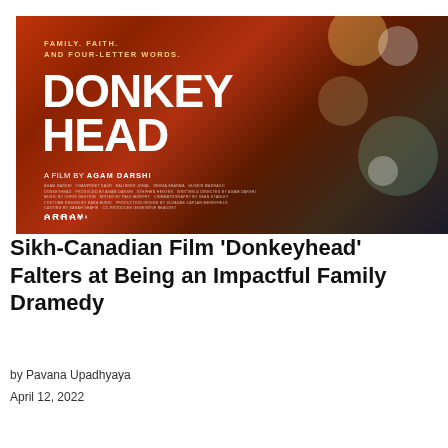[Figure (photo): Movie poster for 'Donkeyhead', a film by Agam Darshi. Red-orange toned poster showing a person from behind with ambient bokeh lights. Text reads: FAMILY. FAITH. AND FOUR-LETTER WORDS. DONKEY HEAD. A FILM BY AGAM DARSHI. ARRAY.]
Sikh-Canadian Film 'Donkeyhead' Falters at Being an Impactful Family Dramedy
by Pavana Upadhyaya
April 12, 2022